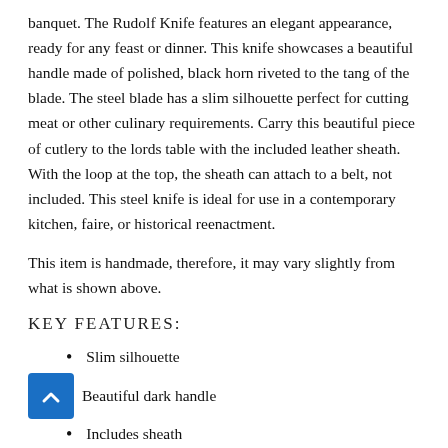banquet. The Rudolf Knife features an elegant appearance, ready for any feast or dinner. This knife showcases a beautiful handle made of polished, black horn riveted to the tang of the blade. The steel blade has a slim silhouette perfect for cutting meat or other culinary requirements. Carry this beautiful piece of cutlery to the lords table with the included leather sheath. With the loop at the top, the sheath can attach to a belt, not included. This steel knife is ideal for use in a contemporary kitchen, faire, or historical reenactment.
This item is handmade, therefore, it may vary slightly from what is shown above.
KEY FEATURES:
Slim silhouette
Beautiful dark handle
Includes sheath
Can be attached to a belt, not included